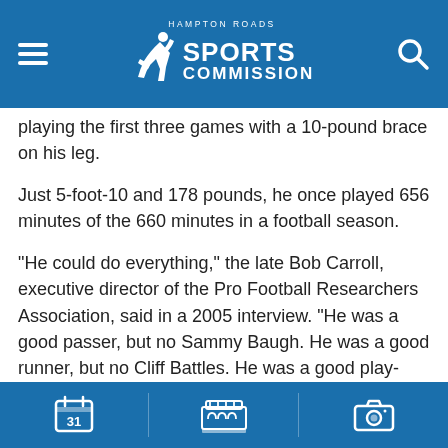HAMPTON ROADS SPORTS COMMISSION
playing the first three games with a 10-pound brace on his leg.
Just 5-foot-10 and 178 pounds, he once played 656 minutes of the 660 minutes in a football season.
"He could do everything," the late Bob Carroll, executive director of the Pro Football Researchers Association, said in a 2005 interview. "He was a good passer, but no Sammy Baugh. He was a good runner, but no Cliff Battles. He was a good play-caller, a decent punter, and certainly a very good choice for the Pro Football Hall of Fame."
Parker's chance discovery was the stuff of fiction. He grew up in Norfolk County and initially attended Churchland High School. But when Churchland canceled its football program, he dropped out of school and went to work for Belt Line Railroad.
While on the old City Park Golf Course in Portsmouth, he was approached by two Wilson High coaches who persuaded him to attend their school by promising to waive the fee Parker's family
Navigation icons: calendar, stadium, camera